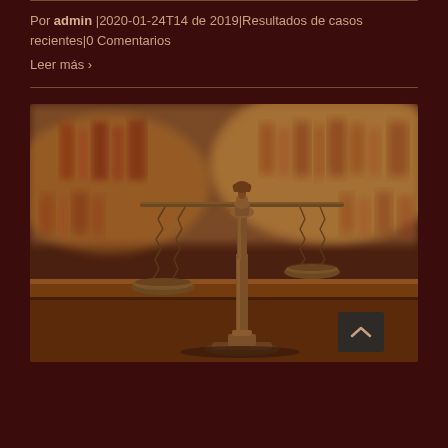Por admin |2020-01-24T14 de 2019|Resultados de casos recientes|0 Comentarios
Leer más ›
[Figure (photo): Bronze scales of justice on a wooden surface in a courtroom setting with blurred bookshelves in the background]